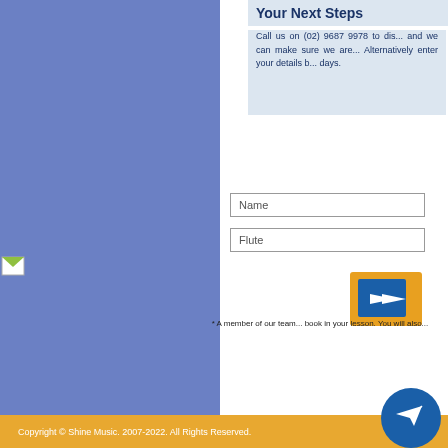[Figure (illustration): Blue rectangular left panel filling left side of page]
[Figure (illustration): Small image icon on left edge]
Your Next Steps
Call us on (02) 9687 9978 to dis... and we can make sure we are... Alternatively enter your details b... days.
Name
Flute
[Figure (illustration): Orange and blue submit/send button with arrow icon]
* A member of our team... book in your lesson. You will also...
[Figure (illustration): Blue circle with paper plane icon, bottom right]
Copyright © Shine Music. 2007-2022. All Rights Reserved.